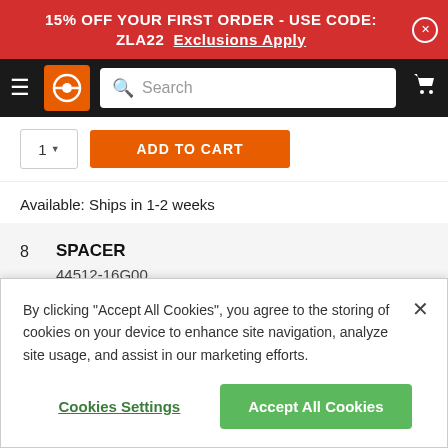15% OFF YOUR FIRST ORDER - USE CODE: ZLA22  Exclusions Apply
[Figure (screenshot): Black navigation bar with hamburger menu, orange brand logo icon, search bar with magnifying glass, and shopping cart icon]
ADD TO CART
Available: Ships in 1-2 weeks
8   SPACER
44512-16G00
$6.75
By clicking “Accept All Cookies”, you agree to the storing of cookies on your device to enhance site navigation, analyze site usage, and assist in our marketing efforts.
Cookies Settings
Accept All Cookies